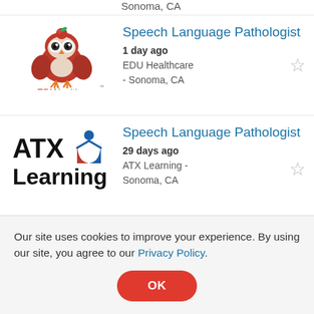Sonoma, CA
[Figure (logo): EDU Healthcare logo — owl with apple and green leaf, red text EDU and black text Healthcare]
Speech Language Pathologist
1 day ago
EDU Healthcare - Sonoma, CA
[Figure (logo): ATX Learning logo — bold black text ATX Learning with blue and red book/figure icon]
Speech Language Pathologist
29 days ago
ATX Learning - Sonoma, CA
Our site uses cookies to improve your experience. By using our site, you agree to our Privacy Policy.